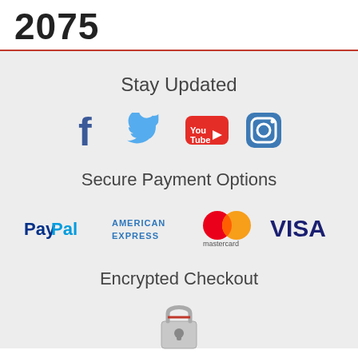2075
Stay Updated
[Figure (logo): Social media icons: Facebook, Twitter, YouTube, Instagram]
Secure Payment Options
[Figure (logo): Payment logos: PayPal, American Express, Mastercard, Visa]
Encrypted Checkout
[Figure (illustration): Padlock icon for encrypted checkout]